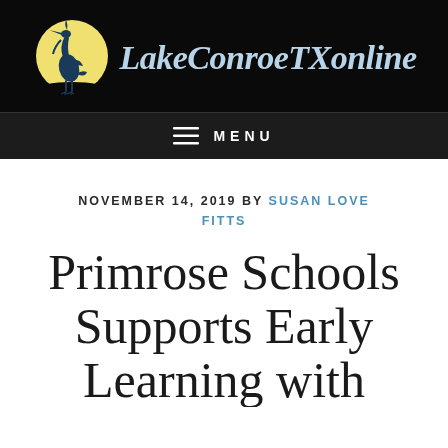[Figure (logo): LakeConroeTXonline website logo with heron bird in front of yellow moon on black background]
≡ MENU
NOVEMBER 14, 2019 BY SUSAN LOVE FITTS
Primrose Schools Supports Early Learning with